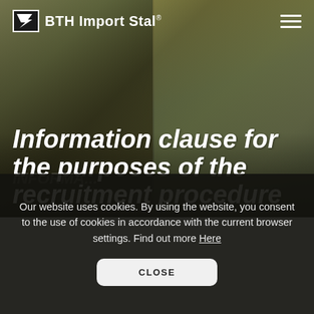[Figure (photo): Hero section with background photo of a worker wearing a hard hat looking at a screen, with yellow-green tones. Dark overlay at bottom.]
BTH Import Stal®
Information clause for the purposes of the recruitment procedure
Our website uses cookies. By using the website, you consent to the use of cookies in accordance with the current browser settings. Find out more Here
CLOSE